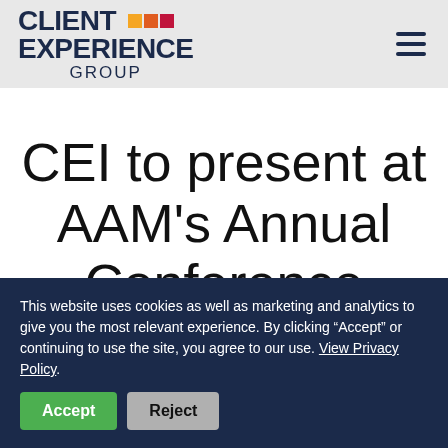[Figure (logo): Client Experience Group logo with colored squares]
CEI to present at AAM's Annual Conference
This website uses cookies as well as marketing and analytics to give you the most relevant experience. By clicking “Accept” or continuing to use the site, you agree to our use. View Privacy Policy.